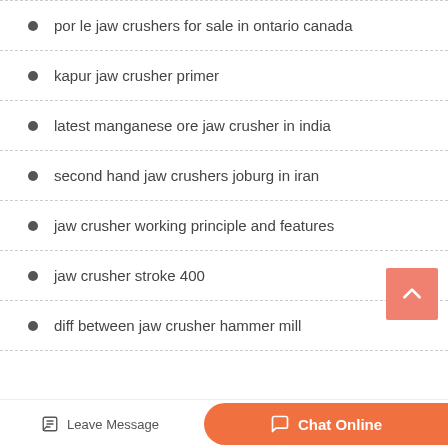por le jaw crushers for sale in ontario canada
kapur jaw crusher primer
latest manganese ore jaw crusher in india
second hand jaw crushers joburg in iran
jaw crusher working principle and features
jaw crusher stroke 400
diff between jaw crusher hammer mill
Leave Message  Chat Online